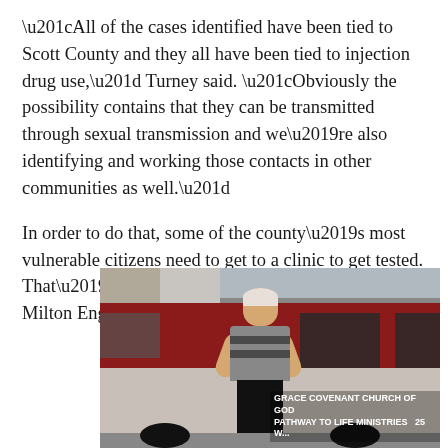“All of the cases identified have been tied to Scott County and they all have been tied to injection drug use,” Turney said. “Obviously the possibility contains that they can be transmitted through sexual transmission and we’re also identifying and working those contacts in other communities as well.”
In order to do that, some of the county’s most vulnerable citizens need to get to a clinic to get tested. That’s where church member and volunteer Milton Engebretson comes in.
[Figure (photo): A man with short gray hair, wearing a striped shirt and dark pants, stands with arms crossed in front of a large maroon/dark red van. The van has text on it reading 'GRACE COVENANT CHURCH OF GOD' and other ministry text. A building is visible in the background.]